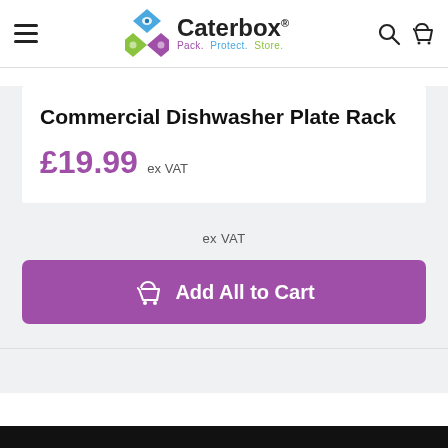Caterbox® — Pack. Protect. Store.
Commercial Dishwasher Plate Rack
£19.99 ex VAT
ex VAT
Add All to Cart